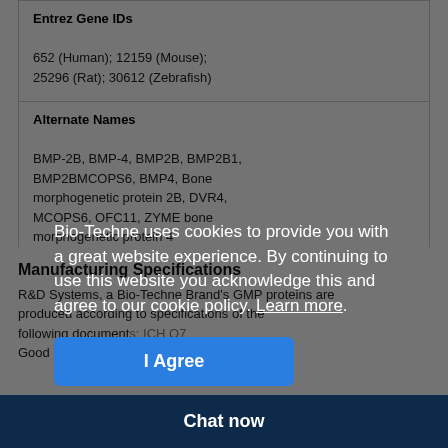| Field | Value |
| --- | --- |
| Entrez Gene IDs | 652 (Human); 12159 (Mouse); 25296 (Rat); 30612 (Zebrafish) |
| Alternate Names | BMP-2B, BMP-4, BMP2B, BMP2B1, BMP2BMCOPS6, BMP4, Bone morphogenetic protein 2B, DVR4, MCOPS6, OFC11, ZYME bone morphogenetic protein 4 |
Manufacturing Specifications
R&D Systems, a Bio-Techne Brand's GMP proteins are produced according to specifications of the following documents: ICH Q7 Good Manufacturing Practices, USP Chapter 1043, Ancillary Materials for Cell, Gene, and Tissue-Engineered Medical Products.
Bio-Techne uses cookies to provide you with a great website experience. By continuing to use this website you acknowledge this and agree to our cookie policy. Learn more.